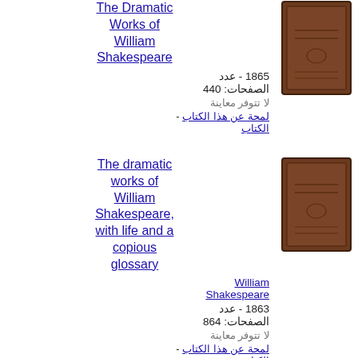The Dramatic Works of William Shakespeare
1865 - عدد الصفحات: 440
لا تتوفر معاينة
لمحة عن هذا الكتاب -
[Figure (photo): Book cover of The Dramatic Works of William Shakespeare, brown cover]
The dramatic works of William Shakespeare, with life and a copious glossary
William Shakespeare
1863 - عدد الصفحات: 864
لا تتوفر معاينة
لمحة عن هذا الكتاب -
[Figure (photo): Book cover of The dramatic works of William Shakespeare, with life and a copious glossary, brown cover]